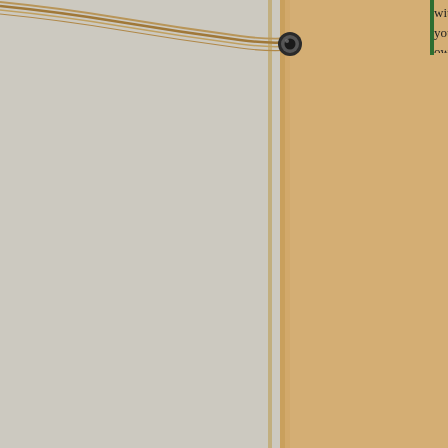with your own poo– but the poo of those traveling with you?
It's definitely amusing, isn't it? When we returned home I found that talking about my poo wasn't really normal (while sitting around a table with friends and a few beers) like it was when I met other travelers on the road! 😀
Name
Jessica the hedgehog
Date
July 10, 2009 at 4:12pm
Deb – Thanks for the well wishes (and the tip about the scam)! It's been about 10 days and I'm finally feeling hu... had put off taking the Cipro because it had seemed like better…but after 7 days in the bathroom, I said enough